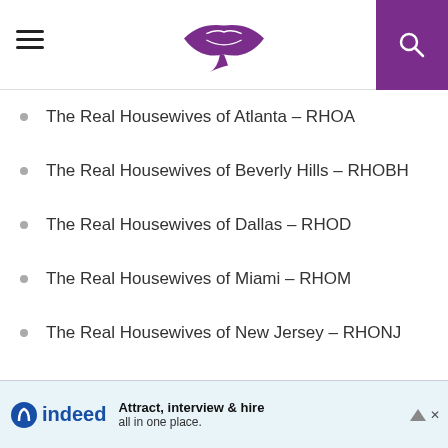Site header with hamburger menu, lips logo, and search button
The Real Housewives of Atlanta – RHOA
The Real Housewives of Beverly Hills – RHOBH
The Real Housewives of Dallas – RHOD
The Real Housewives of Miami – RHOM
The Real Housewives of New Jersey – RHONJ
The Real Housewives of New York – RHONY
The Real Housewives of Orange County – RHOC
The Real Housewives of Potomac – RHOP
Watch What Happens Live
Mob Wives
indeed — Attract, interview & hire all in one place.